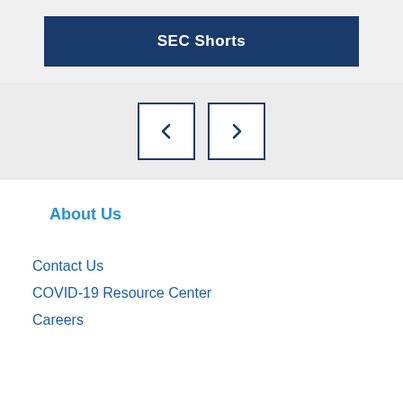[Figure (screenshot): Dark blue button labeled SEC Shorts on a light gray background]
[Figure (screenshot): Navigation carousel controls: left arrow button and right arrow button on a light gray background]
About Us
Contact Us
COVID-19 Resource Center
Careers